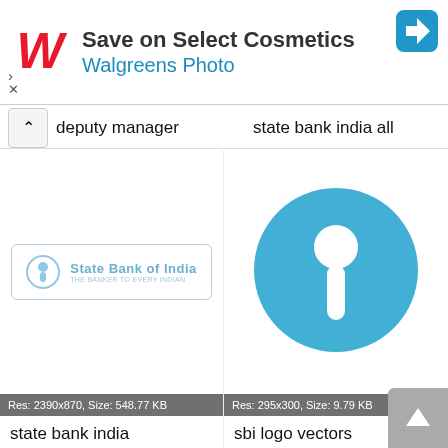[Figure (screenshot): Walgreens Photo advertisement banner with red W logo and blue navigation arrow icon. Text: 'Save on Select Cosmetics' and 'Walgreens Photo']
deputy manager
state bank india all
[Figure (logo): State Bank of India stamp/seal logo with 'State Bank of India THE BANKER TO EVERY INDIAN' text in light blue on white rectangular background with rounded border]
Res: 2390x870, Size: 548.77 KB
state bank india
[Figure (logo): State Bank of India circular blue logo with white keyhole/person symbol inside a large cyan-blue circle]
Res: 295x300, Size: 9.79 KB
sbi logo vectors